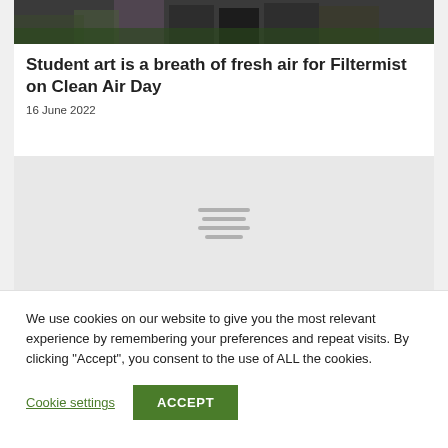[Figure (photo): Partial view of people standing outdoors on green grass, cropped at top]
Student art is a breath of fresh air for Filtermist on Clean Air Day
16 June 2022
[Figure (photo): Loading placeholder image with spinner lines on grey background]
We use cookies on our website to give you the most relevant experience by remembering your preferences and repeat visits. By clicking “Accept”, you consent to the use of ALL the cookies.
Cookie settings
ACCEPT